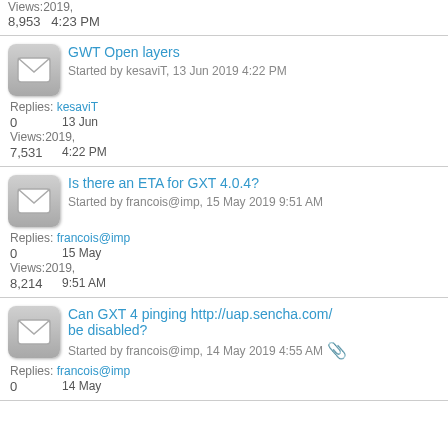Views: 2019,
8,953  4:23 PM
GWT Open layers
Started by kesaviT, 13 Jun 2019 4:22 PM
Replies: kesaviT
0  13 Jun
Views: 2019,
7,531  4:22 PM
Is there an ETA for GXT 4.0.4?
Started by francois@imp, 15 May 2019 9:51 AM
Replies: francois@imp
0  15 May
Views: 2019,
8,214  9:51 AM
Can GXT 4 pinging http://uap.sencha.com/ be disabled?
Started by francois@imp, 14 May 2019 4:55 AM
Replies: francois@imp
0  14 May